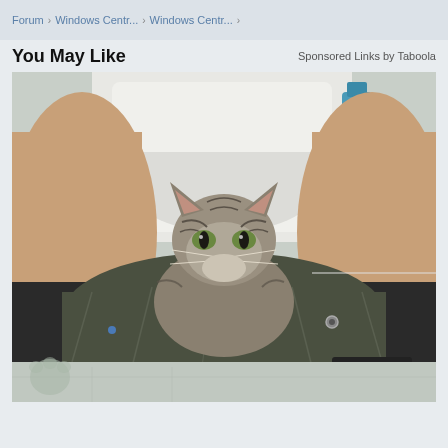Forum › Windows Centr... › Windows Centr... ›
You May Like
Sponsored Links by Taboola
[Figure (photo): A tabby cat sitting in the dropped pants of a person seated on a toilet. The cat looks directly at the camera with a serious expression. The person's bare legs are visible on either side.]